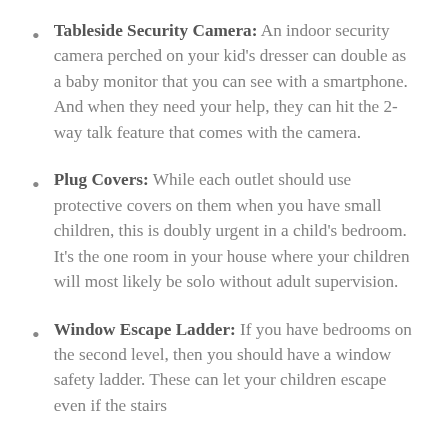Tableside Security Camera: An indoor security camera perched on your kid's dresser can double as a baby monitor that you can see with a smartphone. And when they need your help, they can hit the 2-way talk feature that comes with the camera.
Plug Covers: While each outlet should use protective covers on them when you have small children, this is doubly urgent in a child's bedroom. It's the one room in your house where your children will most likely be solo without adult supervision.
Window Escape Ladder: If you have bedrooms on the second level, then you should have a window safety ladder. These can let your children escape even if the stairs